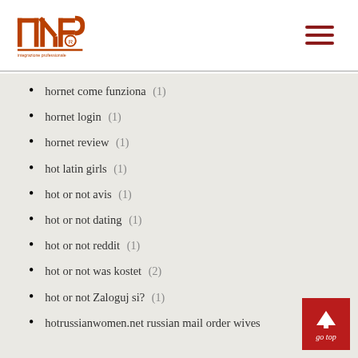[Figure (logo): INP logo with registered trademark symbol in dark red/brown]
hornet come funziona (1)
hornet login (1)
hornet review (1)
hot latin girls (1)
hot or not avis (1)
hot or not dating (1)
hot or not reddit (1)
hot or not was kostet (2)
hot or not Zaloguj si? (1)
hotrussianwomen.net russian mail order wives